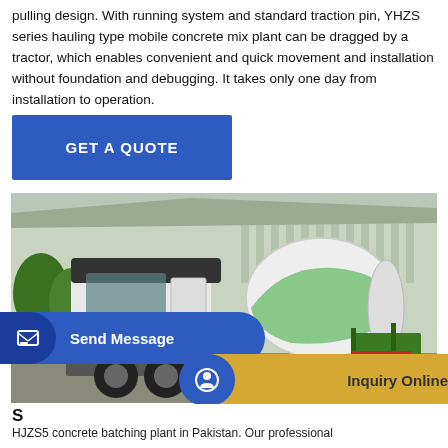pulling design. With running system and standard traction pin, YHZS series hauling type mobile concrete mix plant can be dragged by a tractor, which enables convenient and quick movement and installation without foundation and debugging. It takes only one day from installation to operation.
[Figure (other): Blue rectangular 'GET A QUOTE' button]
[Figure (photo): A white and green concrete mixer truck (HOWO brand) parked in front of a large industrial warehouse building. The truck has a large rotating drum on the back painted white and green.]
[Figure (other): Two UI buttons at the bottom: a blue 'Send Message' button on the left and a gold 'Inquiry Online' button on the right, each with an icon badge.]
HJZS5 concrete batching plant in Pakistan. Our professional